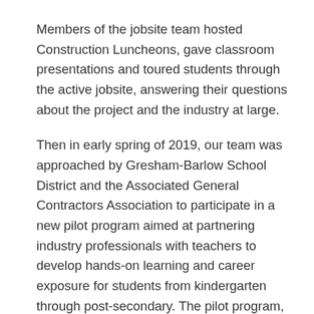Members of the jobsite team hosted Construction Luncheons, gave classroom presentations and toured students through the active jobsite, answering their questions about the project and the industry at large.
Then in early spring of 2019, our team was approached by Gresham-Barlow School District and the Associated General Contractors Association to participate in a new pilot program aimed at partnering industry professionals with teachers to develop hands-on learning and career exposure for students from kindergarten through post-secondary. The pilot program, which concluded in May, had two primary goals: provide a way for teachers and industry professionals to thoughtfully integrate CTE exposure